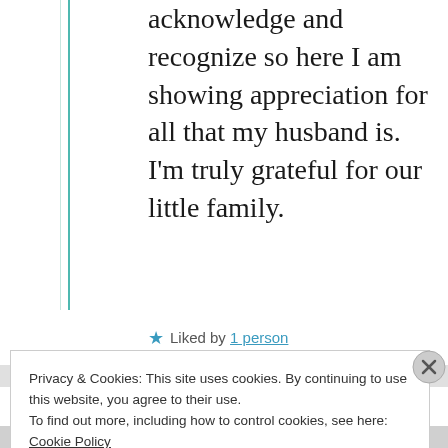acknowledge and recognize so here I am showing appreciation for all that my husband is. I'm truly grateful for our little family.
★ Liked by 1 person
Privacy & Cookies: This site uses cookies. By continuing to use this website, you agree to their use.
To find out more, including how to control cookies, see here:
Cookie Policy
Close and accept